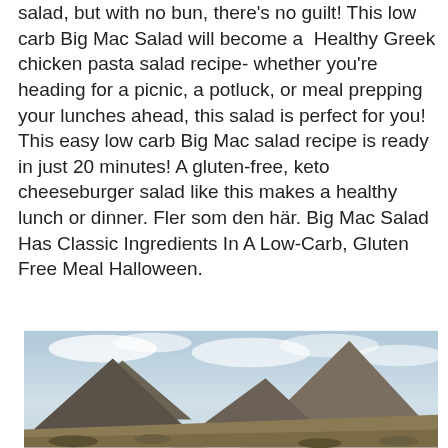salad, but with no bun, there's no guilt! This low carb Big Mac Salad will become a  Healthy Greek chicken pasta salad recipe- whether you're heading for a picnic, a potluck, or meal prepping your lunches ahead, this salad is perfect for you! This easy low carb Big Mac salad recipe is ready in just 20 minutes! A gluten-free, keto cheeseburger salad like this makes a healthy lunch or dinner. Fler som den här. Big Mac Salad Has Classic Ingredients In A Low-Carb, Gluten Free Meal Halloween.
Pensionärsrabatt på flygresor
[Figure (photo): Mountain landscape photo showing several dark mountain peaks against a cloudy sky, with scrubby terrain in the foreground.]